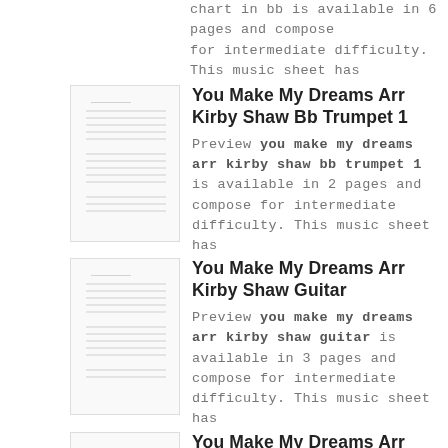chart in bb is available in 6 pages and compose for intermediate difficulty. This music sheet has
You Make My Dreams Arr Kirby Shaw Bb Trumpet 1
Preview you make my dreams arr kirby shaw bb trumpet 1 is available in 2 pages and compose for intermediate difficulty. This music sheet has
You Make My Dreams Arr Kirby Shaw Guitar
Preview you make my dreams arr kirby shaw guitar is available in 3 pages and compose for intermediate difficulty. This music sheet has
You Make My Dreams Arr Kirby Shaw Bb Trumpet 2
Preview you make my dreams arr kirby shaw bb trumpet 2 is available in 2 pages and compose for intermediate difficulty. This music sheet has
Falling In Love With Love With This Cant Be Arr Kirby Shaw Bass
Preview falling in love with love with this cant be arr kirby shaw bass is available in 2 pages and compose for intermediate difficulty. This music